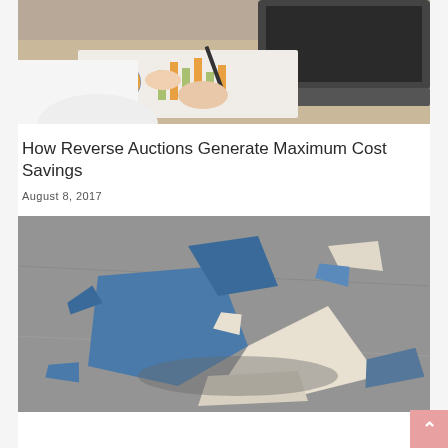[Figure (photo): Person in white shirt reviewing charts and data on paper with a laptop and pen visible on a desk]
How Reverse Auctions Generate Maximum Cost Savings
August 8, 2017
[Figure (photo): Broken blue and white ceramic plate shattered into pieces on a grey concrete surface]